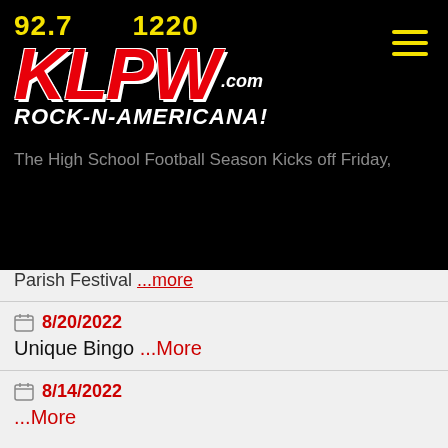[Figure (logo): KLPW Radio station logo with frequencies 92.7 and 1220, red KLPW.com text, tagline ROCK-N-AMERICANA! on black background]
The High School Football Season Kicks off Friday,
Parish Festival ...more
8/20/2022 Unique Bingo ...More
8/14/2022 ...More